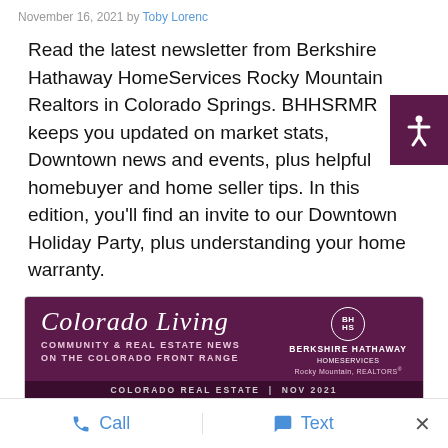November 16, 2021 by Toby Lorenc
Read the latest newsletter from Berkshire Hathaway HomeServices Rocky Mountain Realtors in Colorado Springs. BHHSRMR keeps you updated on market stats, Downtown news and events, plus helpful homebuyer and home seller tips. In this edition, you'll find an invite to our Downtown Holiday Party, plus understanding your home warranty.
[Figure (infographic): Colorado Living newsletter header. Purple background with script title 'Colorado Living', subtitle 'Community & Real Estate News on the Colorado Front Range', Berkshire Hathaway HomeServices Rocky Mountain Realtors logo. Dark bar reads 'Colorado Real Estate | Nov 2021'. White section below with event banner 'You're Invited! Annual Parade of Lights Party' and partial text 'Saturday, December 4th, 5PM-8PM']
Call   Text